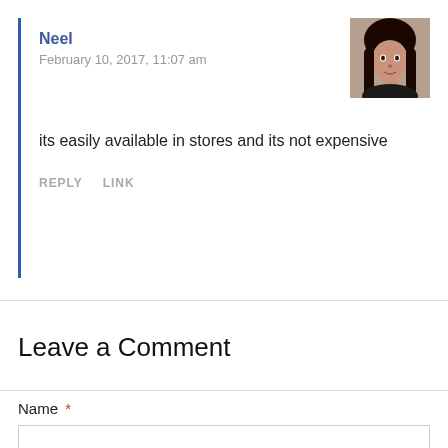Neel
February 10, 2017, 11:07 am
[Figure (photo): Small profile photo of a woman with long dark hair]
its easily available in stores and its not expensive
REPLY   LINK
Leave a Comment
Name *
Email *